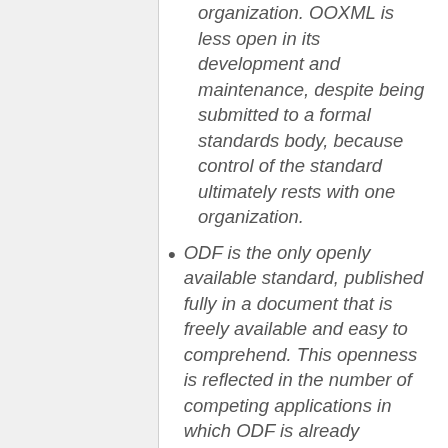organization. OOXML is less open in its development and maintenance, despite being submitted to a formal standards body, because control of the standard ultimately rests with one organization.
ODF is the only openly available standard, published fully in a document that is freely available and easy to comprehend. This openness is reflected in the number of competing applications in which ODF is already implemented. Unlike ODF, OOXML's complexity, extraordinary length, technical omissions, and single-vendor dependencies combine to make